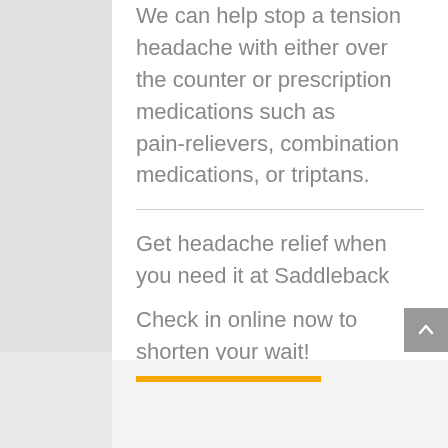We can help stop a tension headache with either over the counter or prescription medications such as pain-relievers, combination medications, or triptans.
Get headache relief when you need it at Saddleback Family & Urgent Care. We welcome walk-ins and offer extended and weekend hours. Check in online now to shorten your wait!